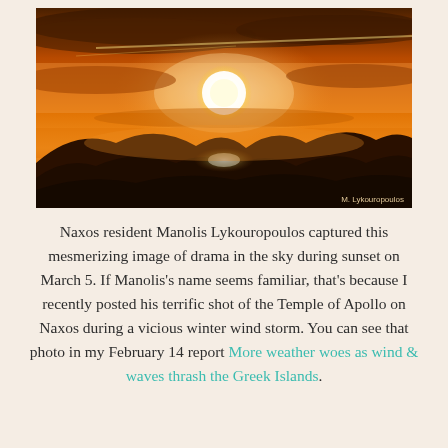[Figure (photo): A dramatic sunset photograph showing a bright orange-golden sun setting behind mountain silhouettes. The sky is filled with dark orange and amber clouds. A reflection or secondary sun glow appears below the main sun disk. Photographer credit: M. Lykouropoulos.]
Naxos resident Manolis Lykouropoulos captured this mesmerizing image of drama in the sky during sunset on March 5. If Manolis's name seems familiar, that's because I recently posted his terrific shot of the Temple of Apollo on Naxos during a vicious winter wind storm. You can see that photo in my February 14 report More weather woes as wind & waves thrash the Greek Islands.